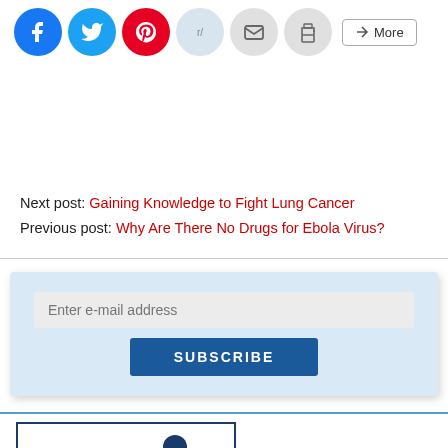[Figure (other): Row of social media share icon buttons: Facebook (blue circle), Twitter (blue circle), Pinterest (red circle), Reddit (light blue circle), Email (gray circle), Print (gray circle), and a 'More' button]
Next post: Gaining Knowledge to Fight Lung Cancer
Previous post: Why Are There No Drugs for Ebola Virus?
[Figure (other): Email subscription box with light blue background, an 'Enter e-mail address' input field, and a dark blue SUBSCRIBE button]
[Figure (other): Partial student badge/card graphic with 'STUDENT' text and a person silhouette icon in dark blue, inside a bordered rectangle]